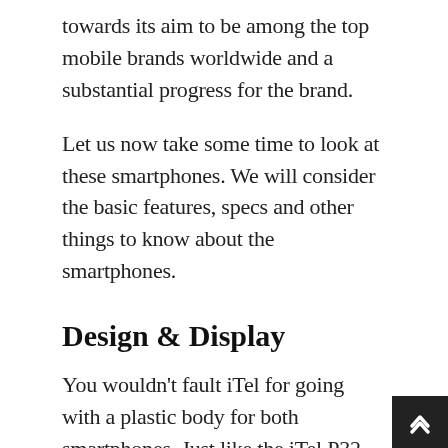towards its aim to be among the top mobile brands worldwide and a substantial progress for the brand.
Let us now take some time to look at these smartphones. We will consider the basic features, specs and other things to know about the smartphones.
Design & Display
You wouldn't fault iTel for going with a plastic body for both smartphones. Just like the iTel P32, the iTel P33 and P33 plus feature fingerprint sensors at the rear and a dual camera set-up. One of the most noticeable differences between the P32 and P33 and P33 Plus is the size. ITel P33 dons an impressive 5.5-inch IPS display while the Plus boasts a bigger and even more admirable 6.0-inch IPS display. Both devices maintain the new 18:9 aspect and features a